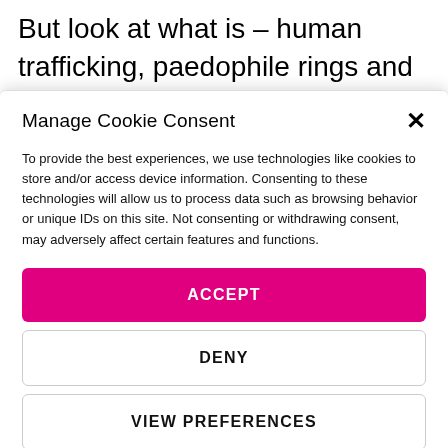But look at what is – human trafficking, paedophile rings and gangland slayings. News is obviously important from the point of view of understanding
Manage Cookie Consent
To provide the best experiences, we use technologies like cookies to store and/or access device information. Consenting to these technologies will allow us to process data such as browsing behavior or unique IDs on this site. Not consenting or withdrawing consent, may adversely affect certain features and functions.
ACCEPT
DENY
VIEW PREFERENCES
Terms & Conditions